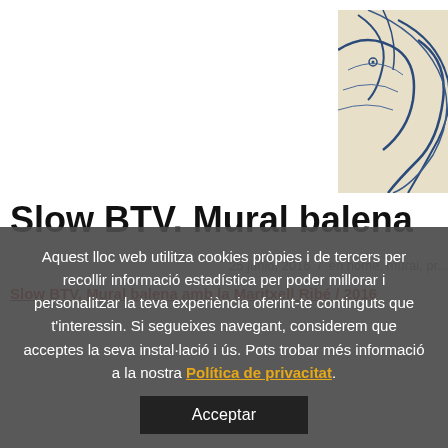[Figure (illustration): Partial view of an artwork showing abstract blue whale mural illustration on a light beige background, cropped at the right edge of the page.]
Slow BTV. Mural balena
25 junio, 2016 / en home, mural, pr...
Slow BTV. Mural balena amb la Maritxell Ribé / 2016
Aquest lloc web utilitza cookies pròpies i de tercers per recollir informació estadística per poder millorar i personalitzar la teva experiència oferint-te continguts que t'interessin. Si segueixes navegant, considerem que acceptes la seva instal·lació i ús. Pots trobar més informació a la nostra Política de privacitat.
Acceptar